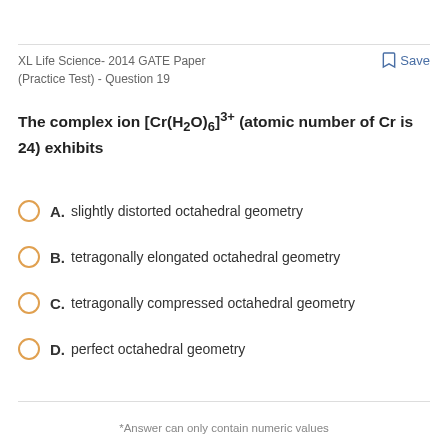XL Life Science- 2014 GATE Paper (Practice Test) - Question 19
The complex ion [Cr(H2O)6]3+ (atomic number of Cr is 24) exhibits
A. slightly distorted octahedral geometry
B. tetragonally elongated octahedral geometry
C. tetragonally compressed octahedral geometry
D. perfect octahedral geometry
*Answer can only contain numeric values